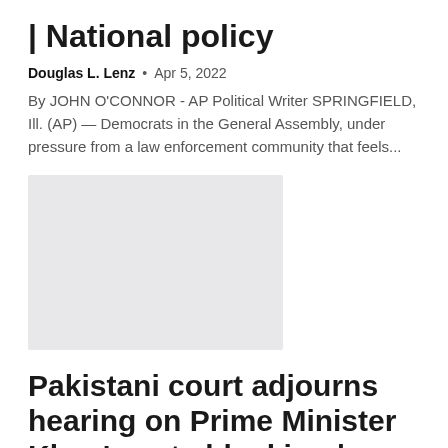| National policy
Douglas L. Lenz  •  Apr 5, 2022
By JOHN O'CONNOR - AP Political Writer SPRINGFIELD, Ill. (AP) — Democrats in the General Assembly, under pressure from a law enforcement community that feels...
[Figure (photo): Placeholder image, light grey rectangle]
Pakistani court adjourns hearing on Prime Minister Khan's vote blocking | Political